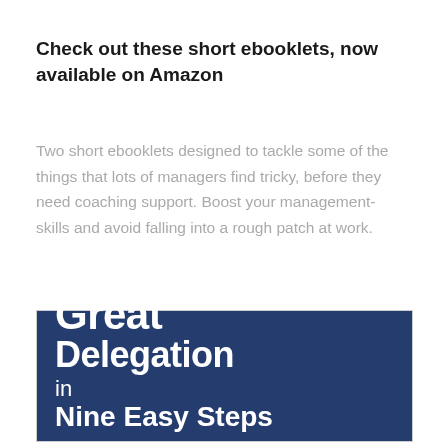Check out these short ebooklets, now available on Amazon
Two short ebooklets designed to tackle some of the things that lots of managers find tricky, before they need coaching support. Boost your management-skills and avoid falling into a rough patch at work.
[Figure (illustration): Book cover for 'Great Delegation in Nine Easy Steps' on a dark navy blue background with white bold text.]